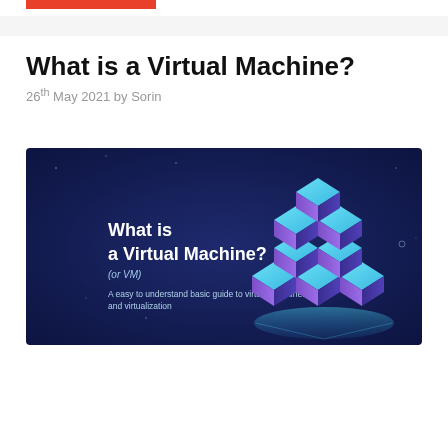What is a Virtual Machine?
26th May 2021 by Sorin
[Figure (illustration): Dark blue banner image titled 'What is a Virtual Machine? (or VM)' with subtitle 'A easy to understand basic guide to virtual machines and virtualization', featuring a 3D isometric illustration of stacked server/cube blocks in blue and purple tones on the right side.]